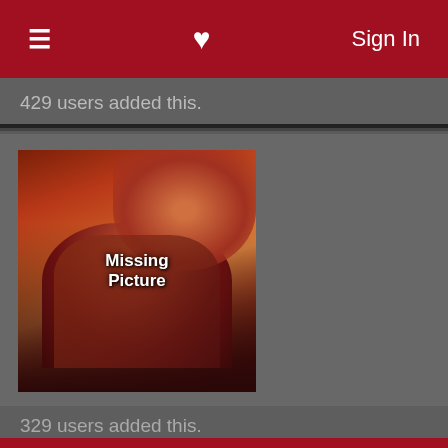Sign In
429 users added this.
[Figure (illustration): Anime character thumbnail image labeled 'Missing Picture' showing a female anime character with red/orange hair against an orange background]
Medaka Box [TV]
Lostless gave it a 10.
When newly elected Student Council President Medaka Kurokami institutes her idea for a suggestion box where people can submit problems that need to be solved, she's expecting things like rescuing lost puppies and giving advice. What she and her best
329 users added this.